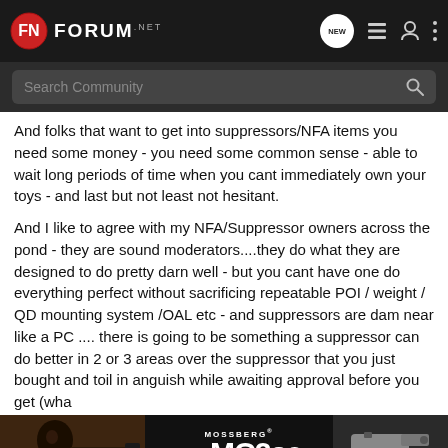FNForum.net
And folks that want to get into suppressors/NFA items you need some money - you need some common sense - able to wait long periods of time when you cant immediately own your toys - and last but not least not hesitant.
And I like to agree with my NFA/Suppressor owners across the pond - they are sound moderators....they do what they are designed to do pretty darn well - but you cant have one do everything perfect without sacrificing repeatable POI / weight / QD mounting system /OAL etc - and suppressors are dam near like a PC .... there is going to be something a suppressor can do better in 2 or 3 areas over the suppressor that you just bought and toil in anguish while awaiting approval before you get (wha
[Figure (advertisement): Mossberg MC2sc Micro-Compact advertisement banner with firearm image and Learn More button]
Get (the